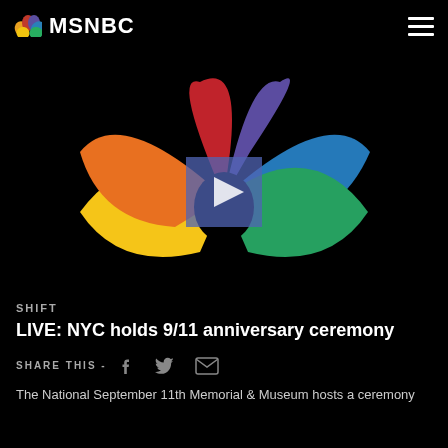MSNBC
[Figure (logo): MSNBC peacock logo with six colored feathers (orange, red, deep red/maroon, purple, blue, green and yellow) on black background with a video play button overlay]
SHIFT
LIVE: NYC holds 9/11 anniversary ceremony
SHARE THIS -
The National September 11th Memorial & Museum hosts a ceremony